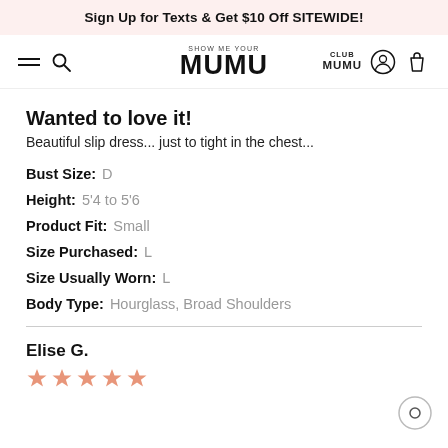Sign Up for Texts & Get $10 Off SITEWIDE!
[Figure (screenshot): Show Me Your MUMU website navigation bar with hamburger menu, search icon, SHOW ME YOUR MUMU logo, CLUB MUMU text, account icon, and bag icon]
Wanted to love it!
Beautiful slip dress... just to tight in the chest...
Bust Size: D
Height: 5'4 to 5'6
Product Fit: Small
Size Purchased: L
Size Usually Worn: L
Body Type: Hourglass, Broad Shoulders
Elise G.
[Figure (other): Four star rating shown in salmon/coral color]